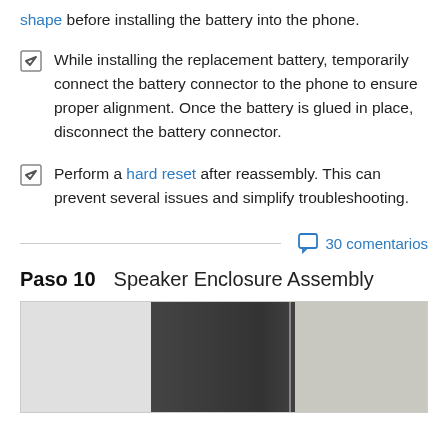shape before installing the battery into the phone.
While installing the replacement battery, temporarily connect the battery connector to the phone to ensure proper alignment. Once the battery is glued in place, disconnect the battery connector.
Perform a hard reset after reassembly. This can prevent several issues and simplify troubleshooting.
30 comentarios
Paso 10   Speaker Enclosure Assembly
[Figure (photo): Photograph of phone internal hardware showing speaker enclosure assembly components, including dark metal components and transparent plastic parts.]